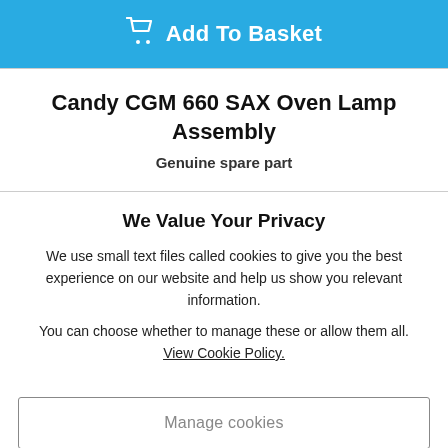[Figure (other): Add To Basket button with shopping cart icon on blue background]
Candy CGM 660 SAX Oven Lamp Assembly
Genuine spare part
We Value Your Privacy
We use small text files called cookies to give you the best experience on our website and help us show you relevant information.
You can choose whether to manage these or allow them all.
View Cookie Policy.
Manage cookies
Allow All